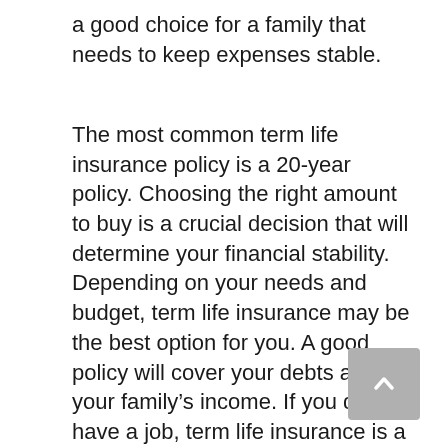a good choice for a family that needs to keep expenses stable.
The most common term life insurance policy is a 20-year policy. Choosing the right amount to buy is a crucial decision that will determine your financial stability. Depending on your needs and budget, term life insurance may be the best option for you. A good policy will cover your debts and your family’s income. If you do not have a job, term life insurance is a good option for you. Its beneficiaries can use the payout to pay for any financial priority.